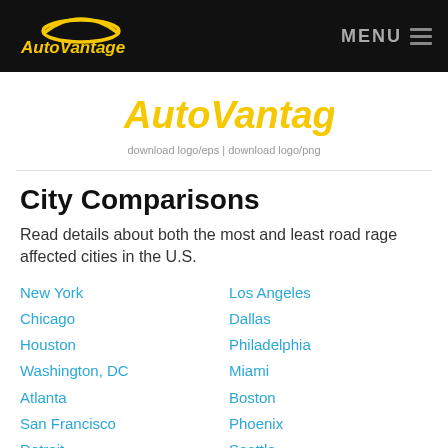[Figure (logo): AutoVantage logo in yellow with car silhouette on black navigation bar, with MENU text and hamburger icon on right]
[Figure (logo): AutoVantage logo in yellow italic text, centered, with download logo/eps and download logo/png links below]
City Comparisons
Read details about both the most and least road rage affected cities in the U.S.
New York
Los Angeles
Chicago
Dallas
Houston
Philadelphia
Washington, DC
Miami
Atlanta
Boston
San Francisco
Phoenix
Detroit
Seattle
Minneapolis
San Diego
Tampa
St. Louis
Baltimore
Denver